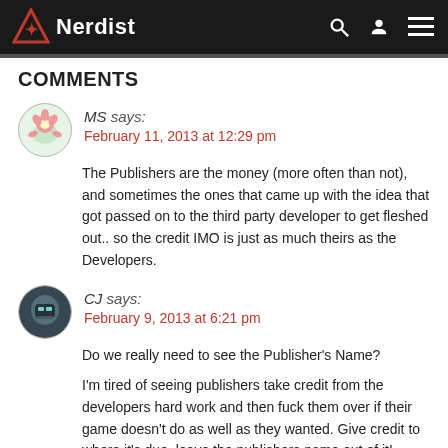Nerdist
COMMENTS
MS says:
February 11, 2013 at 12:29 pm

The Publishers are the money (more often than not), and sometimes the ones that came up with the idea that got passed on to the third party developer to get fleshed out.. so the credit IMO is just as much theirs as the Developers.
CJ says:
February 9, 2013 at 6:21 pm

Do we really need to see the Publisher's Name?

I'm tired of seeing publishers take credit from the developers hard work and then fuck them over if their game doesn't do as well as they wanted. Give credit to where it's due, leave the publishers name out of it!